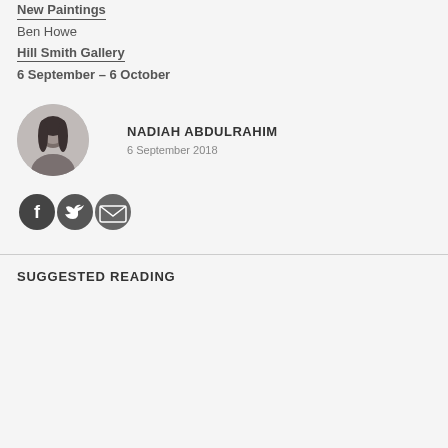New Paintings
Ben Howe
Hill Smith Gallery
6 September – 6 October
[Figure (photo): Circular portrait photo of Nadiah Abdulrahim, a woman with long dark hair wearing a white top, in grayscale.]
NADIAH ABDULRAHIM
6 September 2018
[Figure (illustration): Three circular social share icons: Facebook (f), Twitter (bird), and Email (envelope), dark grey on grey background.]
SUGGESTED READING